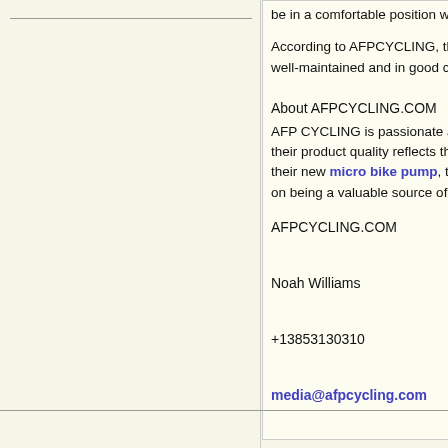be in a comfortable position while cleaning.
According to AFPCYCLING, these are the well-maintained and in good condition.
About AFPCYCLING.COM
AFP CYCLING is passionate about cycling, their product quality reflects this passion, their new micro bike pump, the company on being a valuable source of information.
AFPCYCLING.COM
Noah Williams
+13853130310
media@afpcycling.com
Source: EmailWire.Com